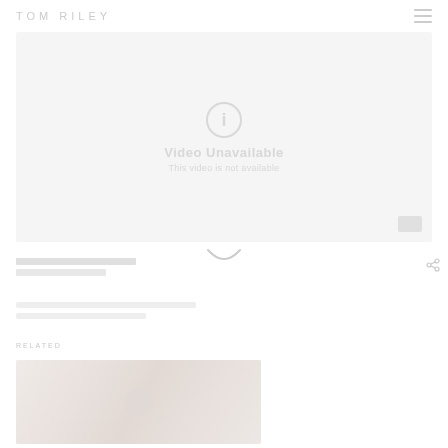TOM RILEY
[Figure (screenshot): Video player area showing unavailable video message with circular info icon, text 'Video Unavailable' and 'This video is not available', on light gray background]
[Figure (other): Scroll down indicator arc/loading spinner graphic]
[Figure (photo): Partially loaded thumbnail image with warm tones, showing a blurred figure, related content preview]